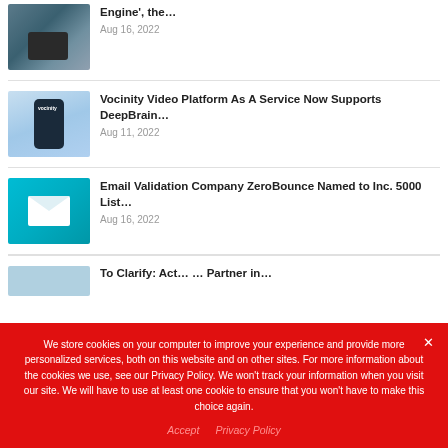[Figure (photo): Thumbnail photo of person with camera against water background]
Engine', the…
Aug 16, 2022
[Figure (screenshot): Vocinity branded thumbnail showing a phone with QR code on blue background]
Vocinity Video Platform As A Service Now Supports DeepBrain…
Aug 11, 2022
[Figure (screenshot): ZeroBounce email validation thumbnail with envelope icon on teal background]
Email Validation Company ZeroBounce Named to Inc. 5000 List…
Aug 16, 2022
[Figure (screenshot): Partially visible thumbnail for 4th article]
To Clarify: Act… … Partner in…
We store cookies on your computer to improve your experience and provide more personalized services, both on this website and on other sites. For more information about the cookies we use, see our Privacy Policy. We won't track your information when you visit our site. We will have to use at least one cookie to ensure that you won't have to make this choice again.
Accept   Privacy Policy